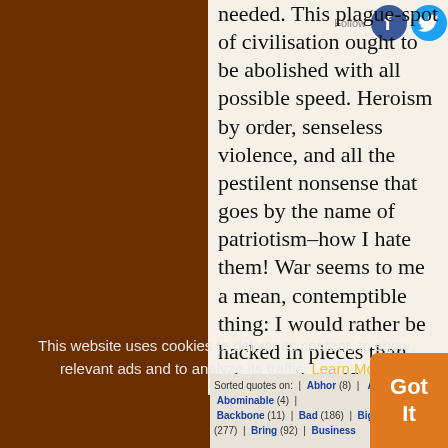needed. This plague-spot of civilisation ought to be abolished with all possible speed. Heroism by order, senseless violence, and all the pestilent nonsense that goes by the name of patriotism–how I hate them! War seems to me a mean, contemptible thing: I would rather be hacked in pieces than take part in such an abominable business.
— Albert Einstein
This website uses cookies to deliver its content, to show relevant ads and to analyze its traffic. Learn More
Sorted quotes on: | Abhor (8) | Abolish... | Abominable (4) | Backbone (11) | Bad (186) | Big (51) | Brain (277) | Bring (92) | Business (51) | Civilisation (39)